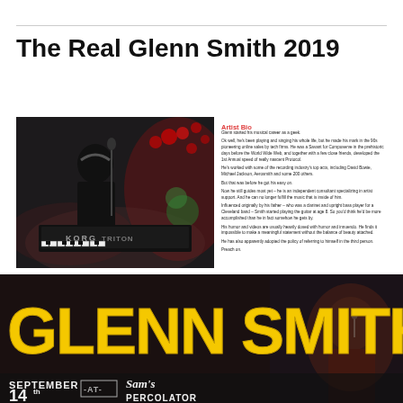The Real Glenn Smith 2019
[Figure (photo): Man playing keyboard (KORG TRITON) on stage with red stage lighting and smoke]
Artist Bio
Glenn started his musical career as a geek.
Ok well, he's been playing and singing his whole life, but he made his mark in the 90s pioneering online sales by tech firms. He was a Savant for Compuserve in the prehistoric days before the World Wide Web, and together with a few close friends, developed the 1st Annual speed of really nascent Protocol.
He's worked with some of the recording industry's top acts, including David Bowie, Michael Jackson, Aerosmith and some 200 others.
But that was before he got his easy on.
Now he still guides most yet – he is an independent consultant specializing in artist support. And he can no longer fulfill the music that is inside of him.
Influenced originally by his father – who was a clarinet and upright bass player for a Cleveland band – Smith started playing the guitar at age 8. So you'd think he'd be more accomplished than he in fact somehow he gets by.
His humor and videos are usually heavily dosed with humor and innuendo. He finds it impossible to make a meaningful statement without the balance of beauty attached.
He has also apparently adopted the policy of referring to himself in the third person.
Preach on.
[Figure (photo): Glenn Smith promotional poster with large yellow bold text 'GLENN SMITH' over dark background, showing 'SEPTEMBER 14th -AT- Sam's Percolator' at the bottom]